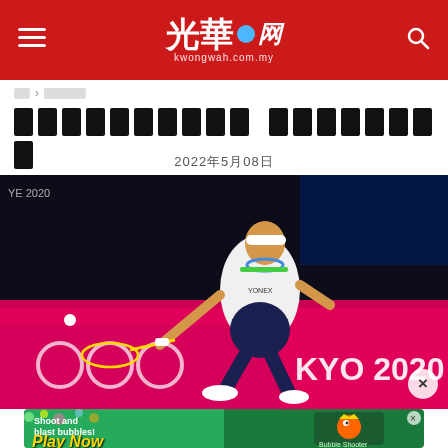光華網 kwongwah.com.my
首頁 › 體育新聞
□□□□□□□□□□ □□□□□□□□
2022年5月08日
[Figure (photo): Female badminton player in action at Tokyo 2020 Olympics, wearing white Yonex jersey, lunging for a shot on a pink court with TOKYO 2020 signage in background]
[Figure (other): Mobile game advertisement: 'Shoot and blast bubbles! Play Now - Bubble Shooter Animal World']